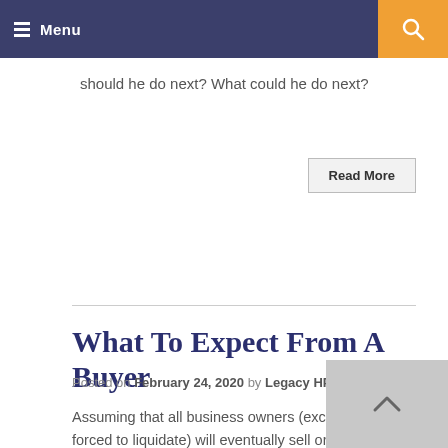Menu
should he do next? What could he do next?
Read More
What To Expect From A Buyer
Posted on February 24, 2020 by Legacy HP
Assuming that all business owners (except for those forced to liquidate) will eventually sell or transfer their companies, we often focus on what it takes to be a well-prepared seller. Setting exit objectives, planning to minimize the income taxes on the ownership transfer, building business value and selecting a skilled Team of Advisors are some of the most important items on any “Savvy Seller Checklist.”